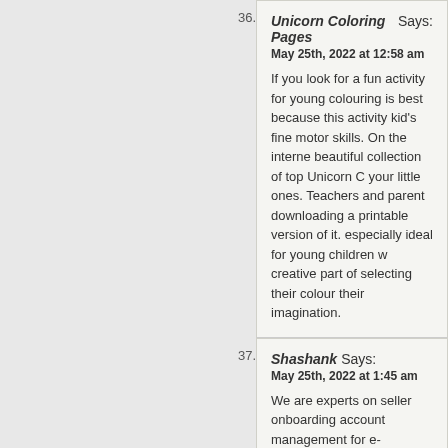36.
Unicorn Coloring Pages Says:
May 25th, 2022 at 12:58 am

If you look for a fun activity for young colouring is best because this activity kid's fine motor skills. On the internet beautiful collection of top Unicorn C your little ones. Teachers and parent downloading a printable version of it. especially ideal for young children w creative part of selecting their colour their imagination.
37.
Shashank Says:
May 25th, 2022 at 1:45 am

We are experts on seller onboarding account management for e-commerc have delivered successfully for many companies.We offer services like:
Seller Account Set-Up and regis
Cataloguing of Products
Account Management